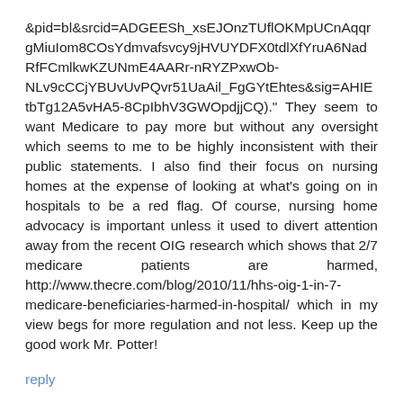&pid=bl&srcid=ADGEESh_xsEJOnzTUflOKMpUCnAqqrgMiuIom8COsYdmvafsvcy9jHVUYDFX0tdlXfYruA6NadRfFCmlkwKZUNmE4AARr-nRYZPxwOb-NLv9cCCjYBUvUvPQvr51UaAil_FgGYtEhtes&sig=AHIEtbTg12A5vHA5-8CpIbhV3GWOpdjjCQ)." They seem to want Medicare to pay more but without any oversight which seems to me to be highly inconsistent with their public statements. I also find their focus on nursing homes at the expense of looking at what's going on in hospitals to be a red flag. Of course, nursing home advocacy is important unless it used to divert attention away from the recent OIG research which shows that 2/7 medicare patients are harmed, http://www.thecre.com/blog/2010/11/hhs-oig-1-in-7-medicare-beneficiaries-harmed-in-hospital/ which in my view begs for more regulation and not less. Keep up the good work Mr. Potter!
reply